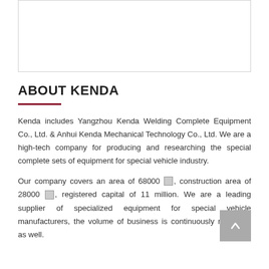[Figure (photo): White rectangular image placeholder box with light border at top of page]
ABOUT KENDA
Kenda includes Yangzhou Kenda Welding Complete Equipment Co., Ltd. & Anhui Kenda Mechanical Technology Co., Ltd. We are a high-tech company for producing and researching the special complete sets of equipment for special vehicle industry.
Our company covers an area of 68000 ㎡, construction area of 28000 ㎡, registered capital of 11 million. We are a leading supplier of specialized equipment for special vehicle manufacturers, the volume of business is continuously multiplied as well.